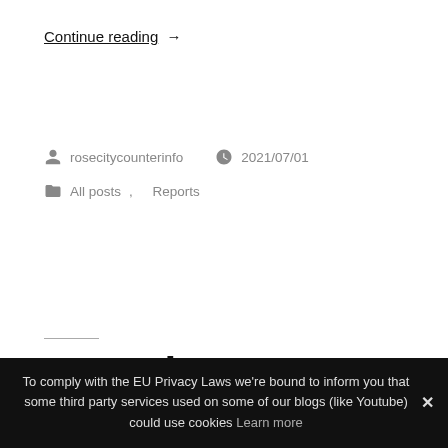Continue reading →
rosecitycounterinfor   2021/07/01
All posts, Reports
SUV Tires Deflated In
To comply with the EU Privacy Laws we're bound to inform you that some third party services used on some of our blogs (like Youtube) could use cookies Learn more ✕